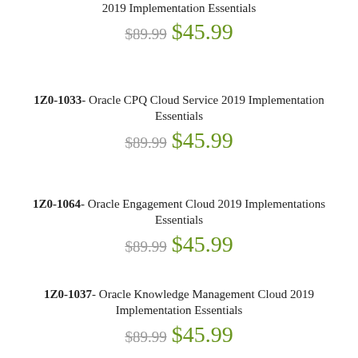2019 Implementation Essentials
$89.99  $45.99
1Z0-1033- Oracle CPQ Cloud Service 2019 Implementation Essentials
$89.99  $45.99
1Z0-1064- Oracle Engagement Cloud 2019 Implementations Essentials
$89.99  $45.99
1Z0-1037- Oracle Knowledge Management Cloud 2019 Implementation Essentials
$89.99  $45.99